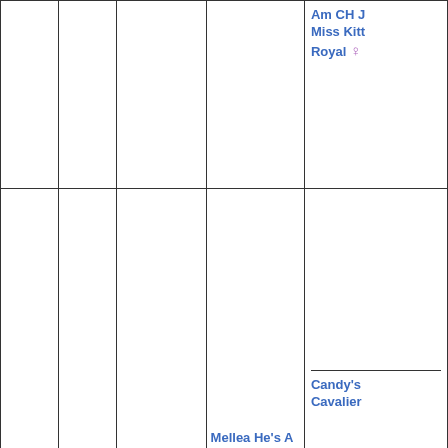|  |  |  |  | Am CH J Miss Kitt Royal ♀ |
|  |  |  |  | Candy's Cavalier |
|  |  |  | Mellea He's A Smiler ♂ 🇬🇧 |  |